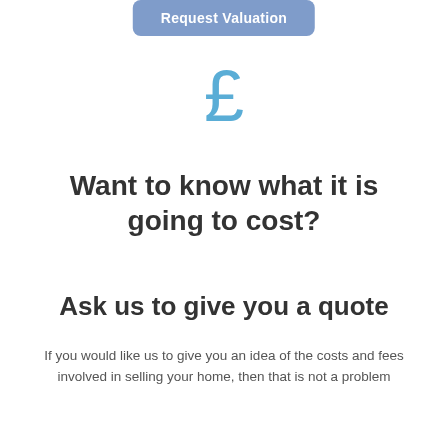[Figure (other): Button with text 'Request Valuation' in a blue-grey rounded rectangle]
[Figure (other): Large light blue pound sterling (£) currency symbol icon]
Want to know what it is going to cost?
Ask us to give you a quote
If you would like us to give you an idea of the costs and fees involved in selling your home, then that is not a problem